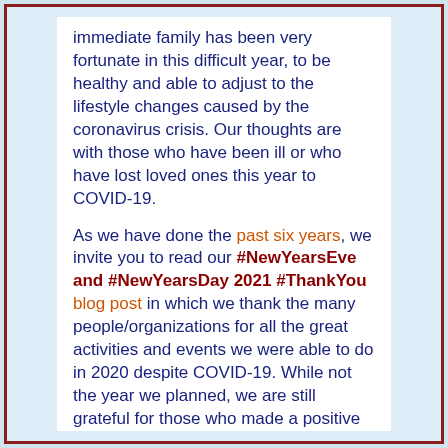immediate family has been very fortunate in this difficult year, to be healthy and able to adjust to the lifestyle changes caused by the coronavirus crisis. Our thoughts are with those who have been ill or who have lost loved ones this year to COVID-19.

As we have done the past six years, we invite you to read our #NewYearsEve and #NewYearsDay 2021 #ThankYou blog post in which we thank the many people/organizations for all the great activities and events we were able to do in 2020 despite COVID-19. While not the year we planned, we are still grateful for those who made a positive difference in our lives. We also enjoy reliving the year by reviewing our 29